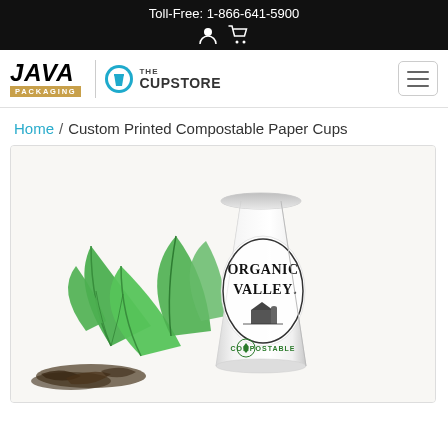Toll-Free: 1-866-641-5900
[Figure (logo): Java Packaging | The CupStore logo with navigation hamburger menu]
Home / Custom Printed Compostable Paper Cups
[Figure (photo): White paper cup printed with Organic Valley logo, surrounded by green tea leaves and loose tea, on white background. Cup has COMPOSTABLE label at bottom.]